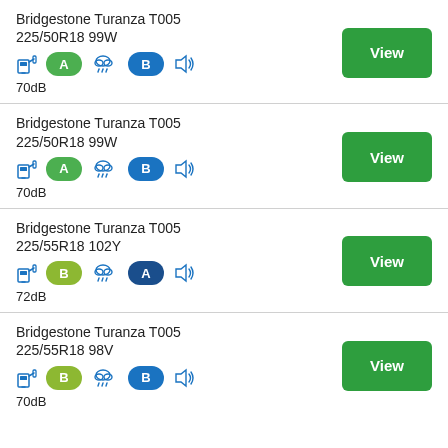Bridgestone Turanza T005 225/50R18 99W — fuel: A, wet: B, noise: 70dB
Bridgestone Turanza T005 225/50R18 99W — fuel: A, wet: B, noise: 70dB
Bridgestone Turanza T005 225/55R18 102Y — fuel: B, wet: A, noise: 72dB
Bridgestone Turanza T005 225/55R18 98V — fuel: B, wet: B, noise: 70dB